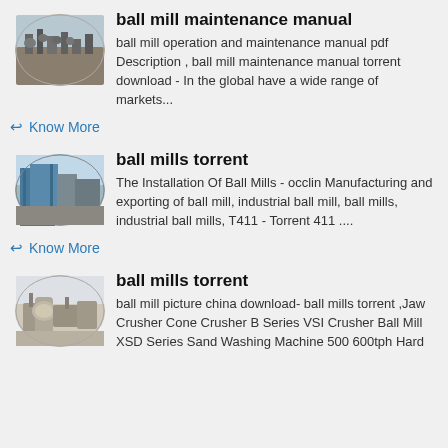ball mill maintenance manual
[Figure (photo): Aerial view of industrial ball mill equipment yard]
ball mill operation and maintenance manual pdf Description , ball mill maintenance manual torrent download - In the global have a wide range of markets...
Know More
ball mills torrent
[Figure (photo): Industrial ball mill green building exterior]
The Installation Of Ball Mills - occlin Manufacturing and exporting of ball mill, industrial ball mill, ball mills, industrial ball mills, T411 - Torrent 411 ....
Know More
ball mills torrent
[Figure (photo): Industrial ball mill machinery on site]
ball mill picture china download- ball mills torrent ,Jaw Crusher Cone Crusher B Series VSI Crusher Ball Mill XSD Series Sand Washing Machine 500 600tph Hard